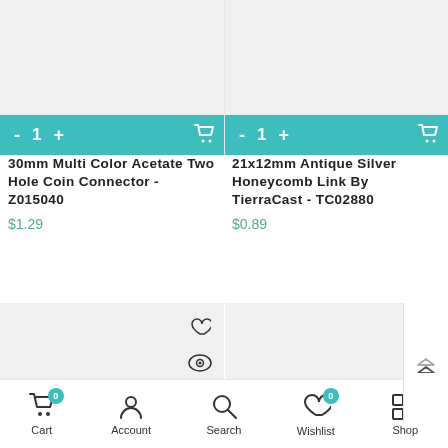[Figure (screenshot): Product image placeholder for 30mm Multi Color Acetate Two Hole Coin Connector]
[Figure (screenshot): Product image placeholder for 21x12mm Antique Silver Honeycomb Link By TierraCast]
30mm Multi Color Acetate Two Hole Coin Connector - Z015040
$1.29
21x12mm Antique Silver Honeycomb Link By TierraCast - TC02880
$0.89
[Figure (photo): Second row product image placeholder left with heart/eye icons and infinity logo]
[Figure (photo): Second row product image placeholder right with heart/eye icons and infinity logo]
Cart 0  Account  Search  Wishlist 0  Shop